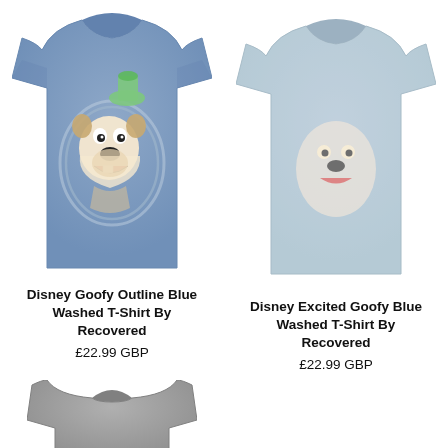[Figure (photo): Blue washed t-shirt with Goofy outline graphic on the front, left column product image]
Disney Goofy Outline Blue Washed T-Shirt By Recovered
£22.99 GBP
[Figure (photo): Blue washed t-shirt with Excited Goofy graphic, right column product image (partially visible, lighter)]
Disney Excited Goofy Blue Washed T-Shirt By Recovered
£22.99 GBP
[Figure (photo): Partially visible grey t-shirt at the bottom left, cropped]